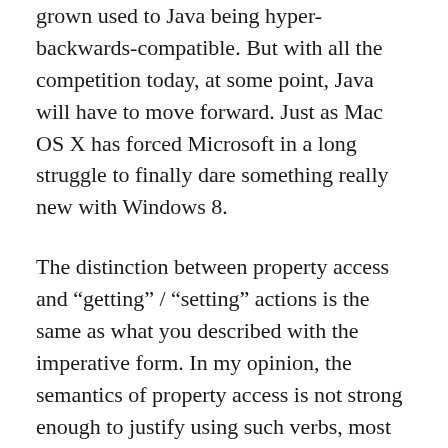grown used to Java being hyper-backwards-compatible. But with all the competition today, at some point, Java will have to move forward. Just as Mac OS X has forced Microsoft in a long struggle to finally dare something really new with Windows 8.
The distinction between property access and “getting” / “setting” actions is the same as what you described with the imperative form. In my opinion, the semantics of property access is not strong enough to justify using such verbs, most importantly for the “getter”(see also the post’s title). Typically, the containers listed in point 5 have a